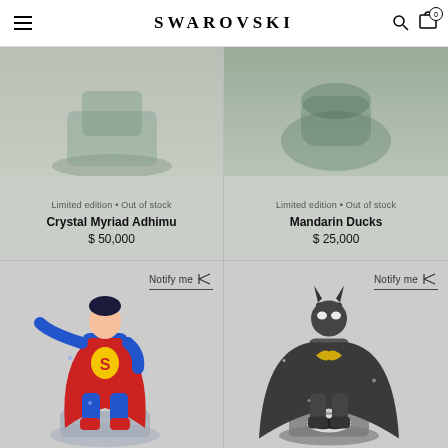SWAROVSKI
[Figure (photo): Crystal Myriad Adhimu product - partially cut off at top, limited edition figurine]
Limited edition • Out of stock
Crystal Myriad Adhimu
$ 50,000
[Figure (photo): Mandarin Ducks product - partially cut off at top, limited edition crystal figurine]
Limited edition • Out of stock
Mandarin Ducks
$ 25,000
[Figure (photo): Superman crystal figurine in flying pose with red cape and blue costume, on crystal base]
Notify me
[Figure (photo): Batman crystal figurine standing with cape, on bat symbol base]
Notify me